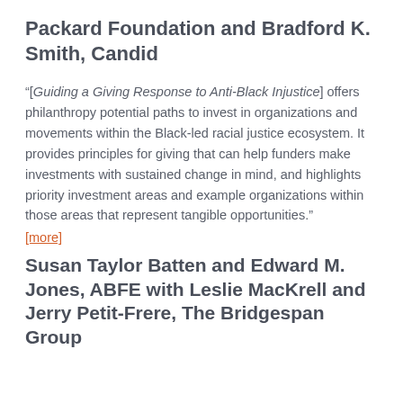Packard Foundation and Bradford K. Smith, Candid
“[Guiding a Giving Response to Anti-Black Injustice] offers philanthropy potential paths to invest in organizations and movements within the Black-led racial justice ecosystem. It provides principles for giving that can help funders make investments with sustained change in mind, and highlights priority investment areas and example organizations within those areas that represent tangible opportunities.”
[more]
Susan Taylor Batten and Edward M. Jones, ABFE with Leslie MacKrell and Jerry Petit-Frere, The Bridgespan Group